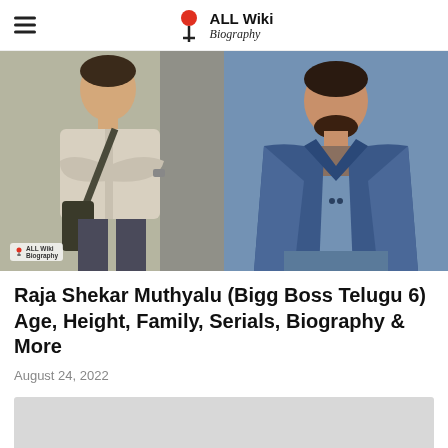ALL Wiki Biography
[Figure (photo): Two photos of Raja Shekar Muthyalu side by side. Left: man in beige t-shirt with crossed arms and a sling bag. Right: man in denim jacket seated casually. Watermark logo visible on left photo.]
Raja Shekar Muthyalu (Bigg Boss Telugu 6) Age, Height, Family, Serials, Biography & More
August 24, 2022
[Figure (other): Gray advertisement placeholder block]